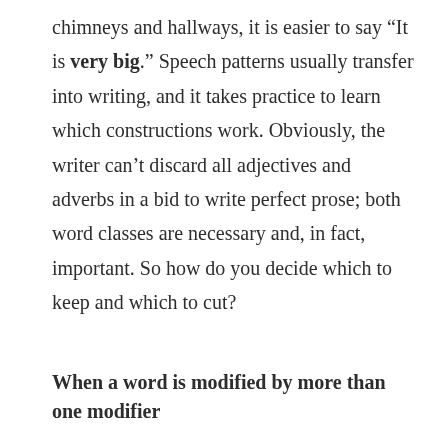chimneys and hallways, it is easier to say “It is very big.” Speech patterns usually transfer into writing, and it takes practice to learn which constructions work. Obviously, the writer can’t discard all adjectives and adverbs in a bid to write perfect prose; both word classes are necessary and, in fact, important. So how do you decide which to keep and which to cut?
When a word is modified by more than one modifier